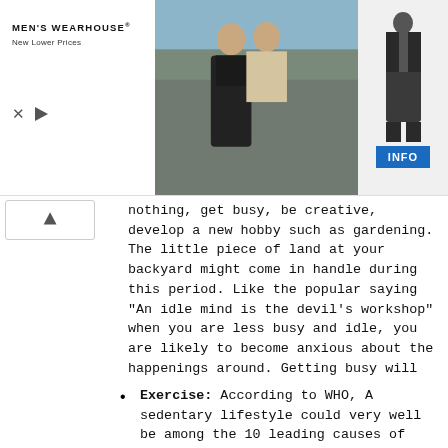[Figure (photo): Men's Wearhouse advertisement banner showing a couple in formalwear and a man in a suit, with an INFO button]
nothing, get busy, be creative, develop a new hobby such as gardening. The little piece of land at your backyard might come in handle during this period. Like the popular saying "An idle mind is the devil's workshop" when you are less busy and idle, you are likely to become anxious about the happenings around. Getting busy will take your mind off things. It fills up your daily time with activities to do. Do some chores or organizing around the house.
Exercise: According to WHO, A sedentary lifestyle could very well be among the 10 leading causes of death and disability in the world because it increases all causes of mortality, doubles the risk of all non-